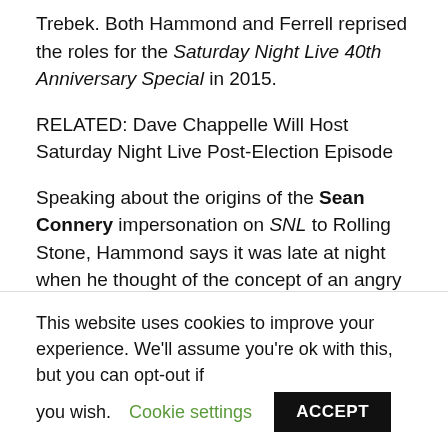Trebek. Both Hammond and Ferrell reprised the roles for the Saturday Night Live 40th Anniversary Special in 2015.
RELATED: Dave Chappelle Will Host Saturday Night Live Post-Election Episode
Speaking about the origins of the Sean Connery impersonation on SNL to Rolling Stone, Hammond says it was late at night when he thought of the concept of an angry Connery competing on Celebrity Jeopardy!. Expecting it to be the "biggest flop" of his run...
This website uses cookies to improve your experience. We'll assume you're ok with this, but you can opt-out if you wish. Cookie settings ACCEPT